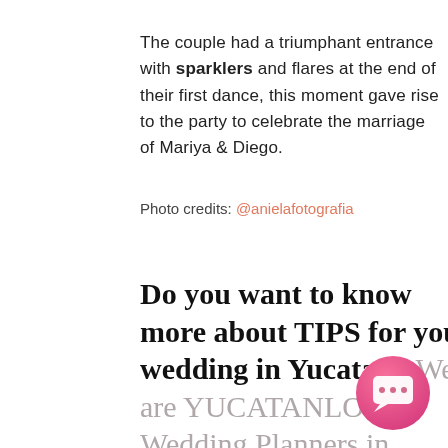The couple had a triumphant entrance with sparklers and flares at the end of their first dance, this moment gave rise to the party to celebrate the marriage of Mariya & Diego.
Photo credits: @anielafotografia
Do you want to know more about TIPS for your wedding in Yucatan? We are YUCATANLOVE, Wedding Planners in Mérida, ask us.